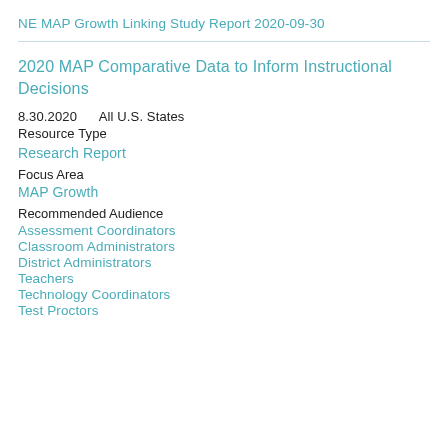NE MAP Growth Linking Study Report 2020-09-30
2020 MAP Comparative Data to Inform Instructional Decisions
8.30.2020     All U.S. States
Resource Type
Research Report
Focus Area
MAP Growth
Recommended Audience
Assessment Coordinators
Classroom Administrators
District Administrators
Teachers
Technology Coordinators
Test Proctors